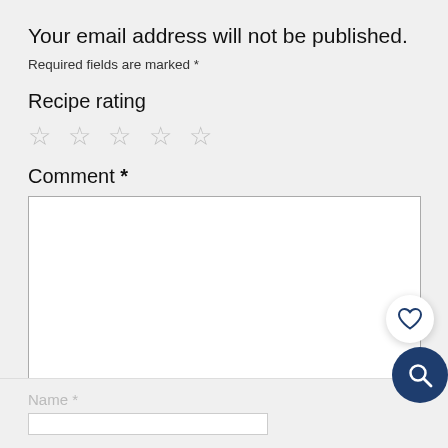Your email address will not be published.
Required fields are marked *
Recipe rating
☆ ☆ ☆ ☆ ☆
Comment *
[Figure (screenshot): Empty comment text area input box with page number 57 in bottom right corner and resize handle]
[Figure (illustration): White circular heart/favorite button]
[Figure (illustration): Dark blue circular search button with magnifying glass icon]
Name *